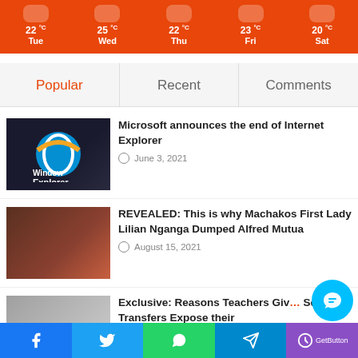[Figure (screenshot): Weather widget showing 5-day forecast on orange background: Tue 22°C, Wed 25°C, Thu 22°C, Fri 23°C, Sat 20°C]
Popular | Recent | Comments
[Figure (photo): Internet Explorer sign on dark background]
Microsoft announces the end of Internet Explorer
June 3, 2021
[Figure (photo): Two people posing, person in red outfit]
REVEALED: This is why Machakos First Lady Lilian Nganga Dumped Alfred Mutua
August 15, 2021
[Figure (photo): Person with afro hairstyle]
Exclusive: Reasons Teachers Giving Seeking Transfers Expose their